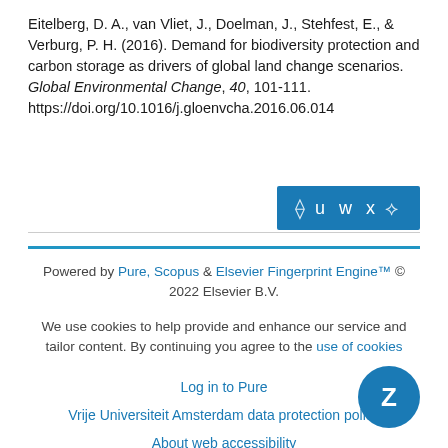Eitelberg, D. A., van Vliet, J., Doelman, J., Stehfest, E., & Verburg, P. H. (2016). Demand for biodiversity protection and carbon storage as drivers of global land change scenarios. Global Environmental Change, 40, 101-111. https://doi.org/10.1016/j.gloenvcha.2016.06.014
[Figure (other): Blue button with icons representing social/export actions labeled with letters u w x and bracket icons]
Powered by Pure, Scopus & Elsevier Fingerprint Engine™ © 2022 Elsevier B.V.
We use cookies to help provide and enhance our service and tailor content. By continuing you agree to the use of cookies
Log in to Pure
Vrije Universiteit Amsterdam data protection policy
About web accessibility